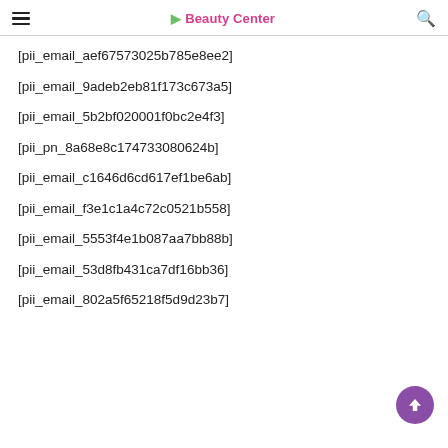Beauty Center
[pii_email_aef67573025b785e8ee2]
[pii_email_9adeb2eb81f173c673a5]
[pii_email_5b2bf020001f0bc2e4f3]
[pii_pn_8a68e8c174733080624b]
[pii_email_c1646d6cd617ef1be6ab]
[pii_email_f3e1c1a4c72c0521b558]
[pii_email_5553f4e1b087aa7bb88b]
[pii_email_53d8fb431ca7df16bb36]
[pii_email_802a5f65218f5d9d23b7]